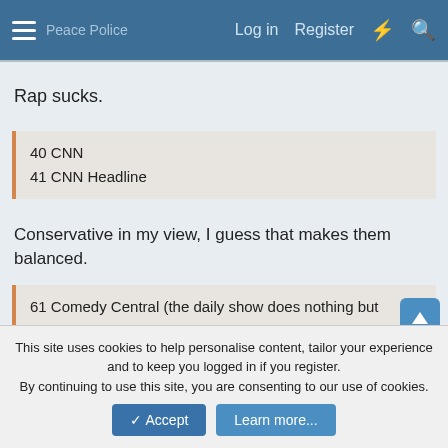Log in   Register
Rap sucks.
40 CNN
41 CNN Headline
Conservative in my view, I guess that makes them balanced.
61 Comedy Central (the daily show does nothing but assault conservatives)
This site uses cookies to help personalise content, tailor your experience and to keep you logged in if you register.
By continuing to use this site, you are consenting to our use of cookies.